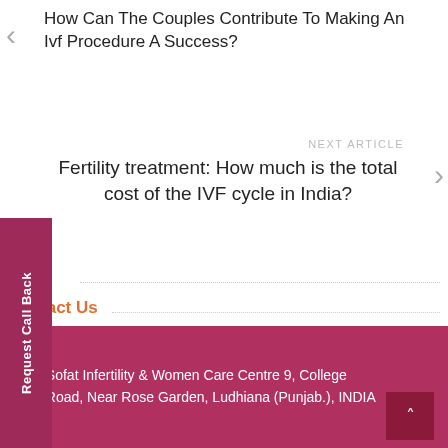How Can The Couples Contribute To Making An Ivf Procedure A Success?
NEXT ARTICLE
Fertility treatment: How much is the total cost of the IVF cycle in India?
Request Call Back
Contact Us
Sofat Infertility & Women Care Centre 9, College Road, Near Rose Garden, Ludhiana (Punjab.), INDIA